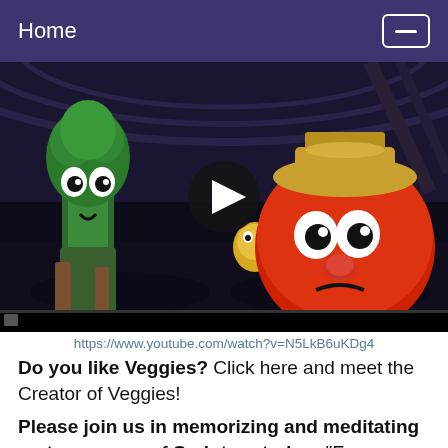Home
[Figure (screenshot): VeggieTales animated characters including a green broccoli and a red tomato with surprised expressions, with a video play button overlay in the center. Scene appears dark/nighttime.]
https://www.youtube.com/watch?v=N5LkB6uKDg4
Do you like Veggies?  Click here and meet the Creator of Veggies!
Please join us in memorizing and meditating on two verses of Scripture today: "From inside the fish Jonah prayed to the LORD his God. He said: 'In my distress I